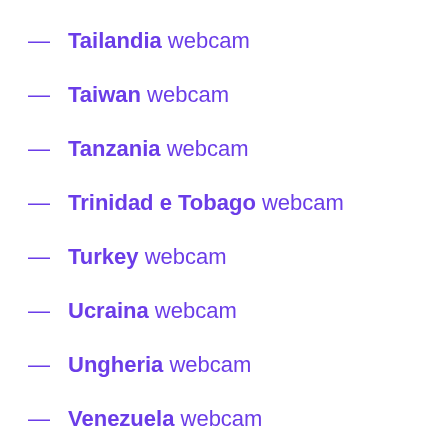— Tailandia webcam
— Taiwan webcam
— Tanzania webcam
— Trinidad e Tobago webcam
— Turkey webcam
— Ucraina webcam
— Ungheria webcam
— Venezuela webcam
— Vietnam webcam